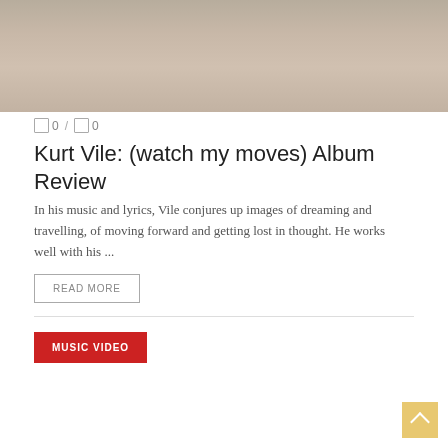[Figure (photo): Faded outdoor photograph showing people near logs with trees in background]
0 / 0
Kurt Vile: (watch my moves) Album Review
In his music and lyrics, Vile conjures up images of dreaming and travelling, of moving forward and getting lost in thought. He works well with his ...
READ MORE
MUSIC VIDEO